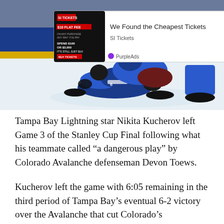[Figure (photo): Hockey players on ice, Tampa Bay Lightning players involved in collision along the boards. Overhead advertisement overlay showing SI Tickets ad with '$10 FLAT FEE' promotion.]
Tampa Bay Lightning star Nikita Kucherov left Game 3 of the Stanley Cup Final following what his teammate called “a dangerous play” by Colorado Avalanche defenseman Devon Toews.
Kucherov left the game with 6:05 remaining in the third period of Tampa Bay’s eventual 6-2 victory over the Avalanche that cut Colorado’s